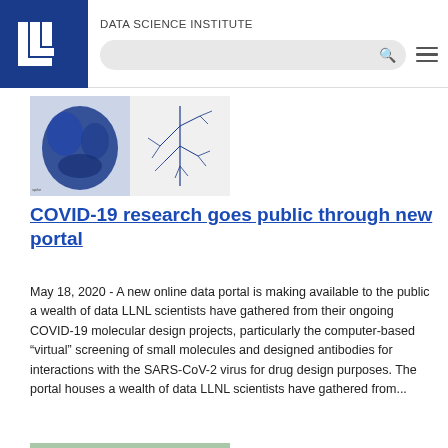DATA SCIENCE INSTITUTE
[Figure (screenshot): COVID-19 molecular visualization showing protein structures in blue on white/dark background, side by side]
COVID-19 research goes public through new portal
May 18, 2020 - A new online data portal is making available to the public a wealth of data LLNL scientists have gathered from their ongoing COVID-19 molecular design projects, particularly the computer-based “virtual” screening of small molecules and designed antibodies for interactions with the SARS-CoV-2 virus for drug design purposes. The portal houses a wealth of data LLNL scientists have gathered from...
[Figure (photo): Group photo of people standing in front of a building, wearing white t-shirts]